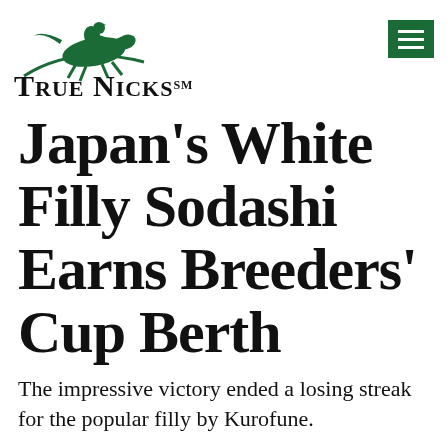[Figure (logo): True Nicks logo with green galloping horse and jockey above stylized serif text reading TRUE NICKS with SM superscript]
Japan's White Filly Sodashi Earns Breeders' Cup Berth
The impressive victory ended a losing streak for the popular filly by Kurofune.